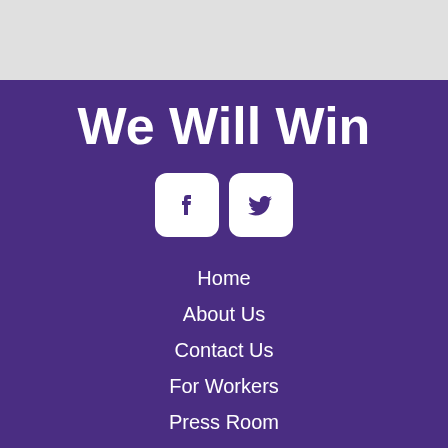We Will Win
[Figure (illustration): Facebook and Twitter social media icons (white rounded square buttons with purple logos) side by side]
Home
About Us
Contact Us
For Workers
Press Room
Privacy Policy